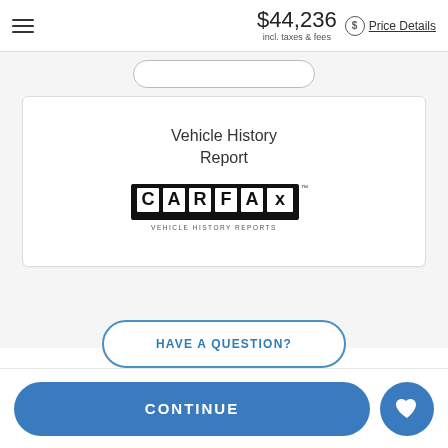$44,236 incl. taxes & fees  Price Details
[Figure (logo): CARFAX Vehicle History Reports logo inside a white card labeled 'Vehicle History Report']
Vehicle History Report
HAVE A QUESTION?
Call
CONTINUE